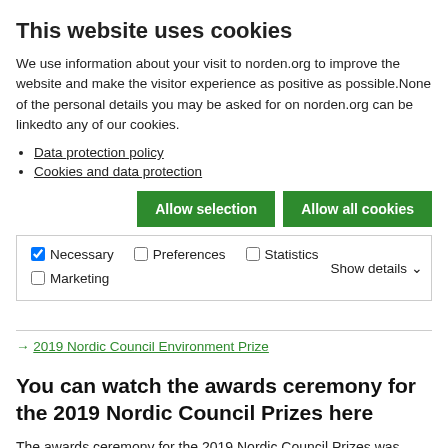This website uses cookies
We use information about your visit to norden.org to improve the website and make the visitor experience as positive as possible.None of the personal details you may be asked for on norden.org can be linkedto any of our cookies.
Data protection policy
Cookies and data protection
Allow selection   Allow all cookies
| Necessary | Preferences | Statistics | Marketing | Show details |
| --- | --- | --- | --- | --- |
→ 2019 Nordic Council Environment Prize
You can watch the awards ceremony for the 2019 Nordic Council Prizes here
The awards ceremony for the 2019 Nordic Council Prizes was broadcast live from the Stockholm Concert Hall. The programme can be watched via the following links and at the following times until spring 2020.